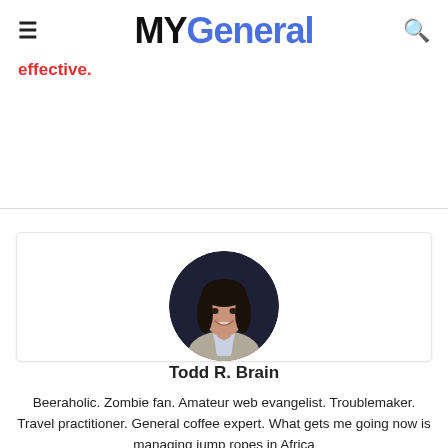MYGeneral
effective.
[Figure (photo): Circular portrait photo of a young woman with dark hair, smiling, wearing a light-colored jacket, against a dark background.]
Todd R. Brain
Beeraholic. Zombie fan. Amateur web evangelist. Troublemaker. Travel practitioner. General coffee expert. What gets me going now is managing jump ropes in Africa